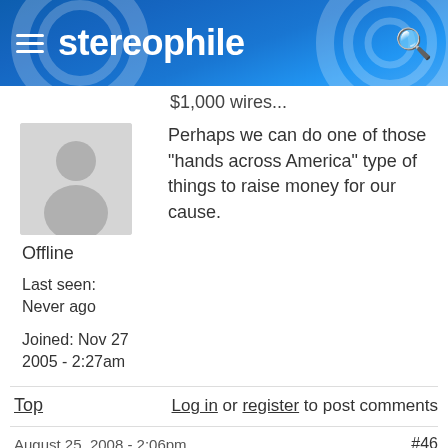stereophile
$1,000 wires...
[Figure (illustration): Default user avatar placeholder — grey silhouette of a person on light grey background]
Perhaps we can do one of those "hands across America" type of things to raise money for our cause.
Offline
Last seen:
Never ago
Joined: Nov 27 2005 - 2:27am
Top   Log in or register to post comments
August 25, 2008 - 2:06pm   #46
Re: After you plugged in those